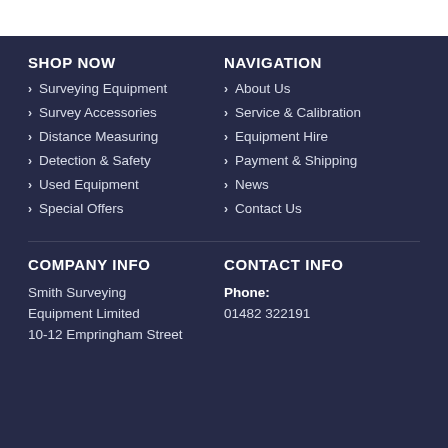SHOP NOW
Surveying Equipment
Survey Accessories
Distance Measuring
Detection & Safety
Used Equipment
Special Offers
NAVIGATION
About Us
Service & Calibration
Equipment Hire
Payment & Shipping
News
Contact Us
COMPANY INFO
Smith Surveying Equipment Limited
10-12 Empringham Street
CONTACT INFO
Phone: 01482 322191